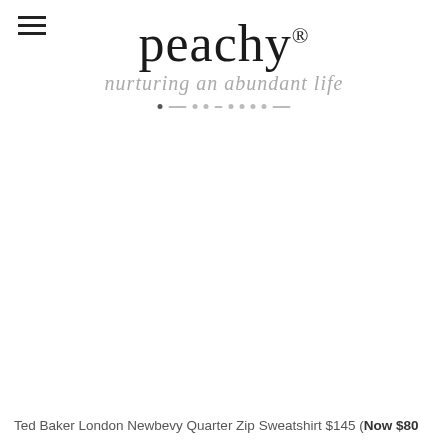peachy® — nurturing an abundant life
[Figure (logo): Peachy brand logo with script tagline 'nurturing an abundant life']
Ted Baker London Newbevy Quarter Zip Sweatshirt $145 (Now $80
Ted Baker London Newbevy Quarter Zip Sweatshirt $145 (Now $80